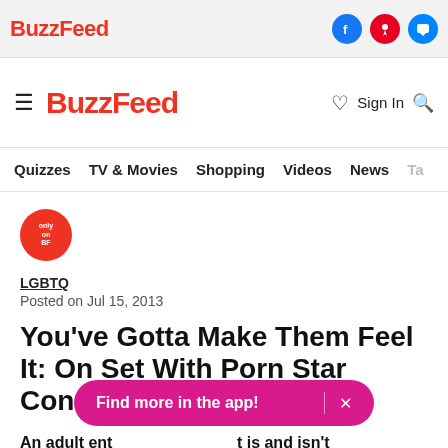BuzzFeed
BuzzFeed — Quizzes  TV & Movies  Shopping  Videos  News  Ta...
only on BF
LGBTQ
Posted on Jul 15, 2013
You've Gotta Make Them Feel It: On Set With Porn Star Conner Habib
An adult ent[...] t is and isn't "real" in porn.
Find more in the app!  ×